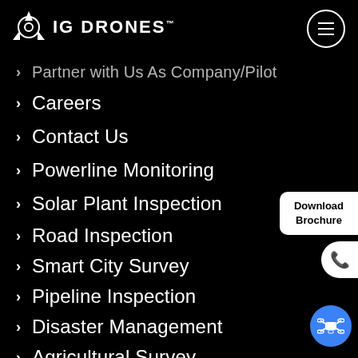IG DRONES
Partner with Us As Company/Pilot
Careers
Contact Us
Powerline Monitoring
Solar Plant Inspection
Road Inspection
Smart City Survey
Pipeline Inspection
Disaster Management
Agricultural Survey
Railway Services